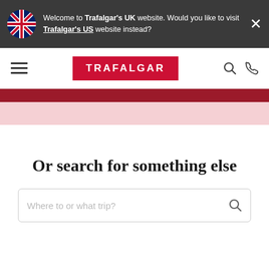Welcome to Trafalgar's UK website. Would you like to visit Trafalgar's US website instead?
[Figure (logo): Trafalgar logo in red rectangle with white text]
Or search for something else
Where to or what trip?